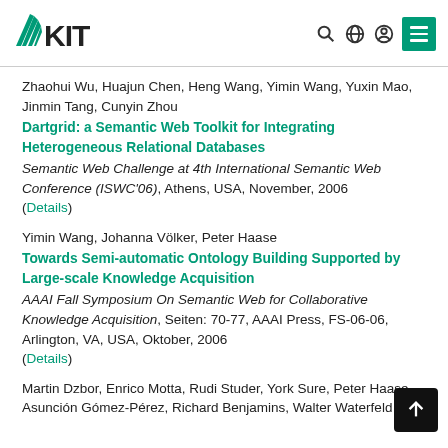[Figure (logo): KIT logo with teal fan/rays and bold KIT text]
Zhaohui Wu, Huajun Chen, Heng Wang, Yimin Wang, Yuxin Mao, Jinmin Tang, Cunyin Zhou
Dartgrid: a Semantic Web Toolkit for Integrating Heterogeneous Relational Databases
Semantic Web Challenge at 4th International Semantic Web Conference (ISWC'06), Athens, USA, November, 2006 (Details)
Yimin Wang, Johanna Völker, Peter Haase
Towards Semi-automatic Ontology Building Supported by Large-scale Knowledge Acquisition
AAAI Fall Symposium On Semantic Web for Collaborative Knowledge Acquisition, Seiten: 70-77, AAAI Press, FS-06-06, Arlington, VA, USA, Oktober, 2006 (Details)
Martin Dzbor, Enrico Motta, Rudi Studer, York Sure, Peter Haase, Asunción Gómez-Pérez, Richard Benjamins, Walter Waterfeld